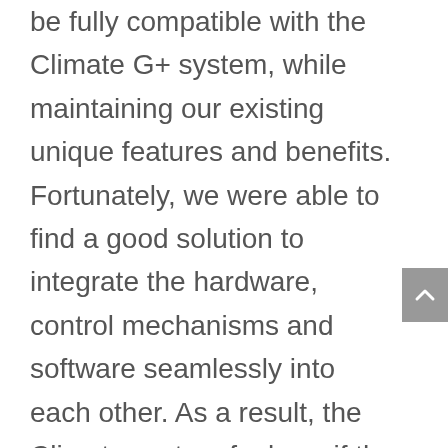be fully compatible with the Climate G+ system, while maintaining our existing unique features and benefits. Fortunately, we were able to find a good solution to integrate the hardware, control mechanisms and software seamlessly into each other. As a result, the Climate system feels as if the Vaporizer has always been part of it and at the same time the Vaporizer can be seen as an add-on to existing systems. This serves new users with a system that can do it all as well as ensures backwards compatibility to existing systems such that we don't exclude the loyal users